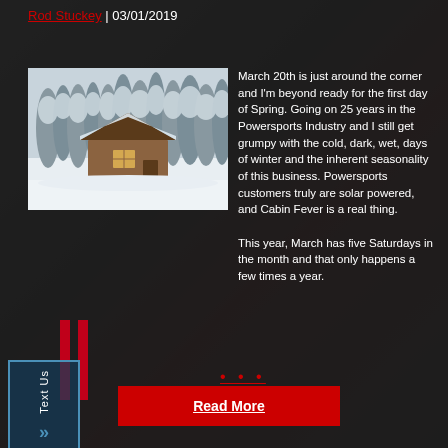Rod Stuckey | 03/01/2019
[Figure (photo): Winter scene with snow-covered pine trees and a log cabin]
March 20th is just around the corner and I'm beyond ready for the first day of Spring. Going on 25 years in the Powersports Industry and I still get grumpy with the cold, dark, wet, days of winter and the inherent seasonality of this business. Powersports customers truly are solar powered, and Cabin Fever is a real thing.

This year, March has five Saturdays in the month and that only happens a few times a year.
...
Read More